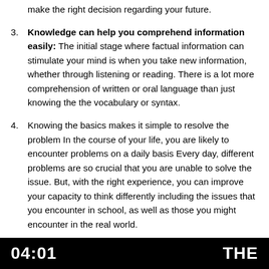make the right decision regarding your future.
3. Knowledge can help you comprehend information easily: The initial stage where factual information can stimulate your mind is when you take new information, whether through listening or reading. There is a lot more comprehension of written or oral language than just knowing the the vocabulary or syntax.
4. Knowing the basics makes it simple to resolve the problem In the course of your life, you are likely to encounter problems on a daily basis Every day, different problems are so crucial that you are unable to solve the issue. But, with the right experience, you can improve your capacity to think differently including the issues that you encounter in school, as well as those you might encounter in the real world.
04:01   THE